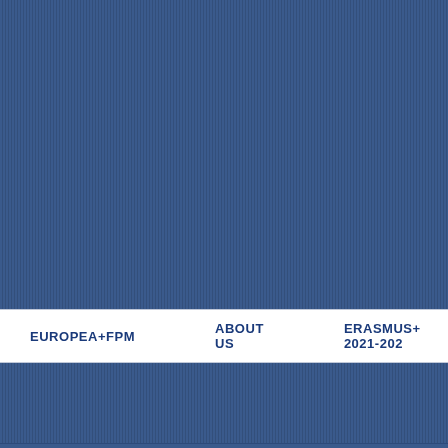[Figure (photo): Blue ribbed/corrugated textured background (upper section)]
EUROPEA+FPM   ABOUT US   ERASMUS+ 2021-202
[Figure (photo): Blue ribbed/corrugated textured background (lower band)]